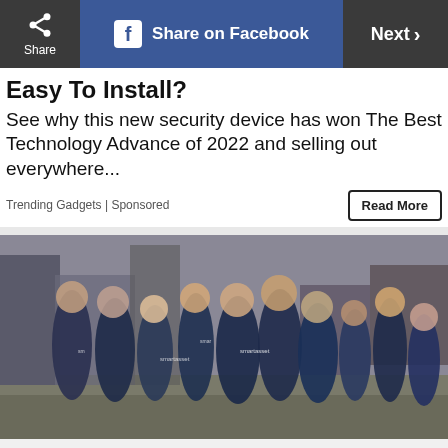Share | Share on Facebook | Next
Easy To Install?
See why this new security device has won The Best Technology Advance of 2022 and selling out everywhere...
Trending Gadgets | Sponsored
[Figure (photo): Group photo of approximately 12 people wearing blue SmartAsset branded t-shirts standing on a city street in New York]
ADVERTISEMENT